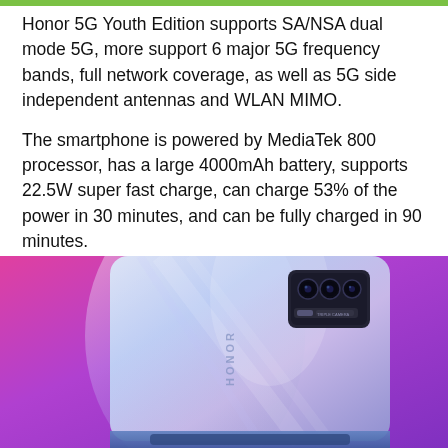Honor 5G Youth Edition supports SA/NSA dual mode 5G, more support 6 major 5G frequency bands, full network coverage, as well as 5G side independent antennas and WLAN MIMO.
The smartphone is powered by MediaTek 800 processor, has a large 4000mAh battery, supports 22.5W super fast charge, can charge 53% of the power in 30 minutes, and can be fully charged in 90 minutes.
In addition, it also supports uninterrupted calls and knuckle screenshots. The call can provide 1080P ultra-high-definition video experience and screen sharing.
[Figure (photo): Back view of a Honor smartphone with triple camera module, shown against a purple/magenta gradient background. The phone has a silver-white iridescent back panel with 'HONOR' branding text. The camera module is in the upper right corner.]